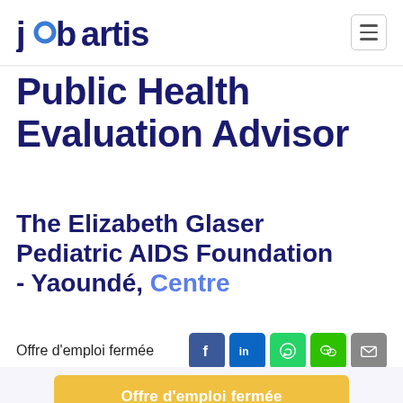jobartis
Public Health Evaluation Advisor
The Elizabeth Glaser Pediatric AIDS Foundation - Yaoundé, Centre
Offre d'emploi fermée
Offre d'emploi fermée